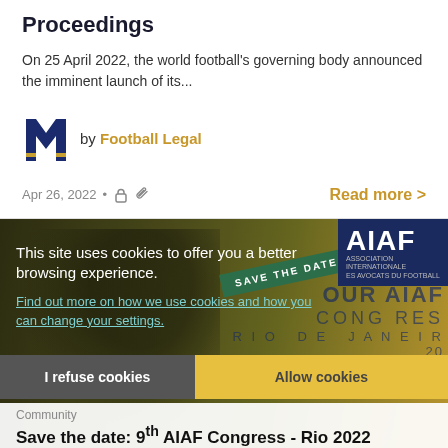Proceedings
On 25 April 2022, the world football's governing body announced the imminent launch of its...
by Football Legal
Apr 26, 2022 • Read more >
[Figure (screenshot): Cookie consent banner overlaid on AIAF Congress promotional image with football player, Save the Date stamp, and AIAF logo]
This site uses cookies to offer you a better browsing experience.
Find out more on how we use cookies and how you can change your settings.
I refuse cookies | Allow cookies
Community
Save the date: 9th AIAF Congress - Rio 2022
The International Association of Football Lawyers